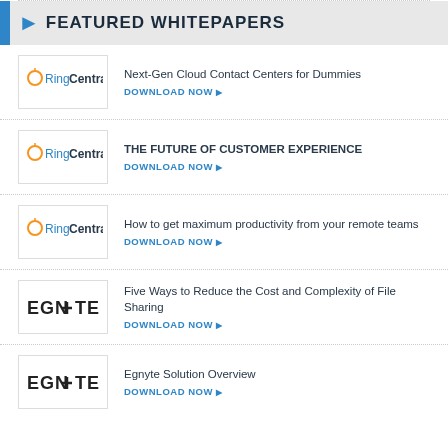FEATURED WHITEPAPERS
Next-Gen Cloud Contact Centers for Dummies — DOWNLOAD NOW
THE FUTURE OF CUSTOMER EXPERIENCE — DOWNLOAD NOW
How to get maximum productivity from your remote teams — DOWNLOAD NOW
Five Ways to Reduce the Cost and Complexity of File Sharing — DOWNLOAD NOW
Egnyte Solution Overview — DOWNLOAD NOW